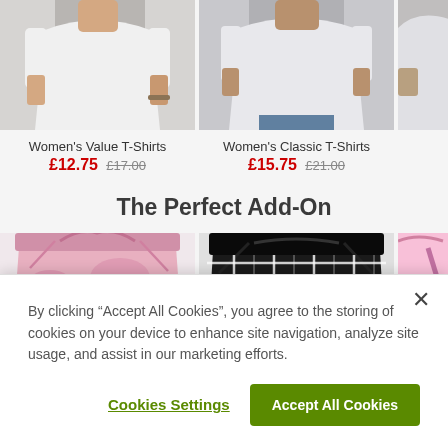[Figure (photo): Women's Value T-Shirts product photo - person wearing white t-shirt]
Women's Value T-Shirts
£12.75 £17.00
[Figure (photo): Women's Classic T-Shirts product photo - person wearing white t-shirt]
Women's Classic T-Shirts
£15.75 £21.00
[Figure (photo): Partial product photo on right edge]
The Perfect Add-On
[Figure (photo): Pink camouflage drawstring shorts/pants product photo]
[Figure (photo): Black and white plaid/tartan pants product photo]
[Figure (photo): Partial product photo on right edge (pink)]
By clicking “Accept All Cookies”, you agree to the storing of cookies on your device to enhance site navigation, analyze site usage, and assist in our marketing efforts.
Cookies Settings
Accept All Cookies